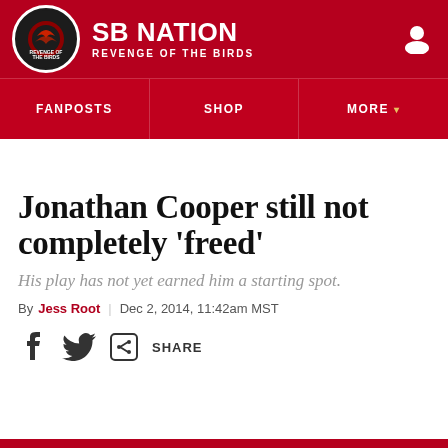SB NATION — REVENGE OF THE BIRDS
Jonathan Cooper still not completely 'freed'
His play has not yet earned him a starting spot.
By Jess Root | Dec 2, 2014, 11:42am MST